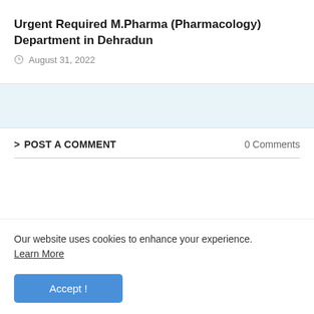Urgent Required M.Pharma (Pharmacology) Department in Dehradun
August 31, 2022
POST A COMMENT
0 Comments
Our website uses cookies to enhance your experience. Learn More
Accept !